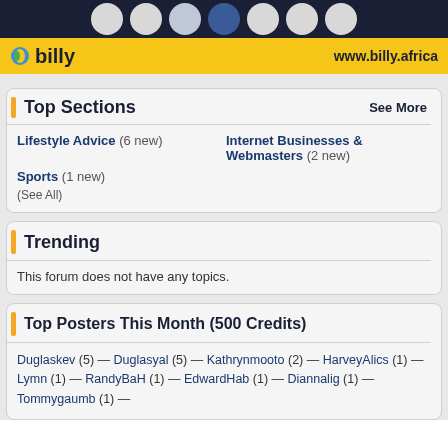billy www.billy.africa
Top Sections  See More
Lifestyle Advice (6 new)
Internet Businesses & Webmasters (2 new)
Sports (1 new)
(See All)
Trending
This forum does not have any topics.
Top Posters This Month (500 Credits)
Duglaskev (5) — Duglasyal (5) — Kathrynmooto (2) — HarveyAlics (1) — Lymn (1) — RandyBaH (1) — EdwardHab (1) — Diannalig (1) — Tommygaumb (1) —